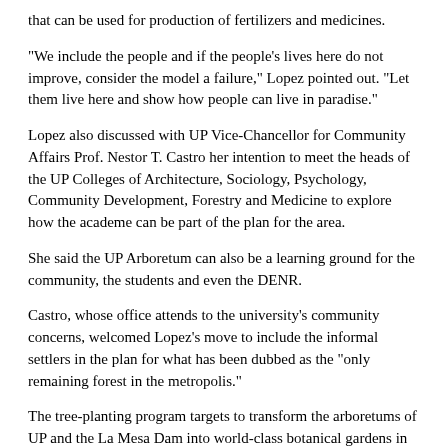that can be used for production of fertilizers and medicines.
"We include the people and if the people's lives here do not improve, consider the model a failure," Lopez pointed out. "Let them live here and show how people can live in paradise."
Lopez also discussed with UP Vice-Chancellor for Community Affairs Prof. Nestor T. Castro her intention to meet the heads of the UP Colleges of Architecture, Sociology, Psychology, Community Development, Forestry and Medicine to explore how the academe can be part of the plan for the area.
She said the UP Arboretum can also be a learning ground for the community, the students and even the DENR.
Castro, whose office attends to the university’s community concerns, welcomed Lopez's move to include the informal settlers in the plan for what has been dubbed as the “only remaining forest in the metropolis.”
The tree-planting program targets to transform the arboretums of UP and the La Mesa Dam into world-class botanical gardens in five years. It is the centerpiece of the medium-term carbon-sequestration project for Metro Manila of Beta Sigma Fraternity and the Coalition of Clean Air Advocates of the Philippines (CCAAP).
A medical mission and a feeding program for the residents were also held after the tree planting.